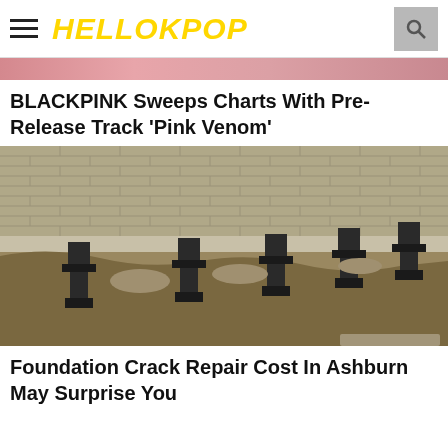HELLOKPOP
[Figure (photo): Partial cropped photo of people, appears pinkish toned, top portion only visible]
BLACKPINK Sweeps Charts With Pre-Release Track 'Pink Venom'
[Figure (photo): Construction photo showing foundation underpinning work with steel piers/brackets along a brick wall foundation with excavated soil]
Foundation Crack Repair Cost In Ashburn May Surprise You